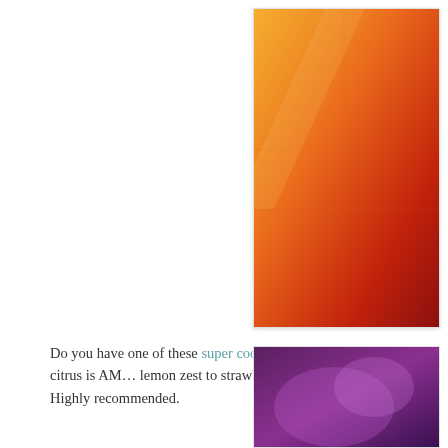[Figure (photo): A product image with a gradient orange-to-red background with the 'Microplane' brand name in yellow text, partially cropped on the right side of the page.]
Do you have one of these super cool gadgets?  Because zesting citrus is AM… lemon zest to strawberry lemonade buttercream?   Highly recommended.
[Figure (photo): A partially visible photo with purple and blurred tones at the bottom right corner of the page.]